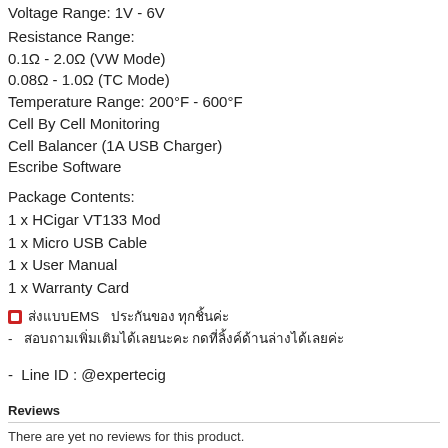Voltage Range: 1V - 6V
Resistance Range:
0.1Ω - 2.0Ω (VW Mode)
0.08Ω - 1.0Ω (TC Mode)
Temperature Range: 200°F - 600°F
Cell By Cell Monitoring
Cell Balancer (1A USB Charger)
Escribe Software
Package Contents:
1 x HCigar VT133 Mod
1 x Micro USB Cable
1 x User Manual
1 x Warranty Card
🔴 ส่งแบบEMS   ประกันของ ทุกชิ้นค่ะ
- สอบถามเพิ่มเติมได้เลยนะคะ กดที่ลิ้งค์ด้านล่างได้เลยค่ะ
- Line ID : @expertecig
Reviews
There are yet no reviews for this product.